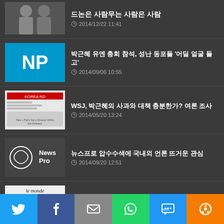박근혜 유엔 총회 참석, 성난 동포들 '어딜 얼굴 들고' 2014/09/06 10:55
WSJ, 박근혜의 사과와 대책 충분한가? 여론 조사 2014/05/20 13:24
뉴스프로 압수수색에 국내외 언론 뜨거운 관심 2014/09/20 12:51
르몽드, 한국에서 수난 당하는 언론의 자유 2014/10/16 14:50
獨 언론, 여론조사 박근혜, 도살지 박정희땐